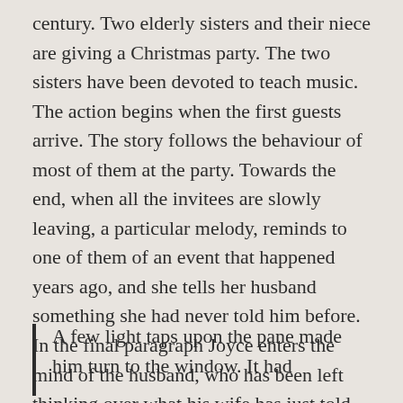century. Two elderly sisters and their niece are giving a Christmas party. The two sisters have been devoted to teach music. The action begins when the first guests arrive. The story follows the behaviour of most of them at the party. Towards the end, when all the invitees are slowly leaving, a particular melody, reminds to one of them of an event that happened years ago, and she tells her husband something she had never told him before. In the final paragraph Joyce enters the mind of the husband, who has been left thinking over what his wife has just told him.
A few light taps upon the pane made him turn to the window. It had